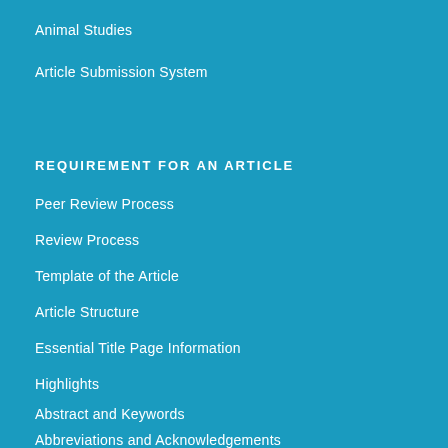Animal Studies
Article Submission System
REQUIREMENT FOR AN ARTICLE
Peer Review Process
Review Process
Template of the Article
Article Structure
Essential Title Page Information
Highlights
Abstract and Keywords
Abbreviations and Acknowledgements